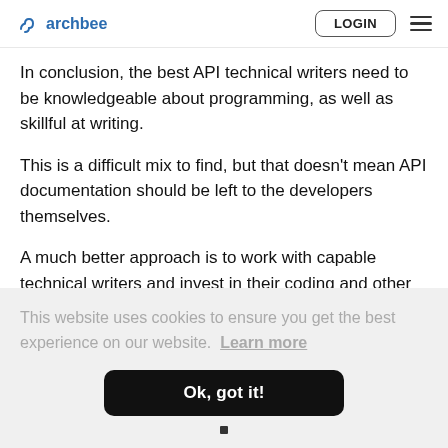archbee  LOGIN
In conclusion, the best API technical writers need to be knowledgeable about programming, as well as skillful at writing.
This is a difficult mix to find, but that doesn't mean API documentation should be left to the developers themselves.
A much better approach is to work with capable technical writers and invest in their coding and other
This website uses cookies to ensure you get the best experience on our website. Learn more
Ok, got it!